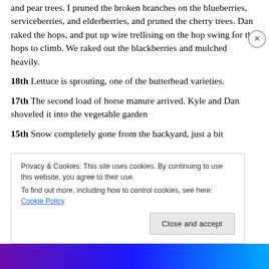and pear trees. I pruned the broken branches on the blueberries, serviceberries, and elderberries, and pruned the cherry trees. Dan raked the hops, and put up wire trellising on the hop swing for the hops to climb. We raked out the blackberries and mulched heavily.
18th Lettuce is sprouting, one of the butterhead varieties.
17th The second load of horse manure arrived. Kyle and Dan shoveled it into the vegetable garden
15th Snow completely gone from the backyard, just a bit left in front from the snow banks. Outstandingly fine...
Privacy & Cookies: This site uses cookies. By continuing to use this website, you agree to their use.
To find out more, including how to control cookies, see here: Cookie Policy